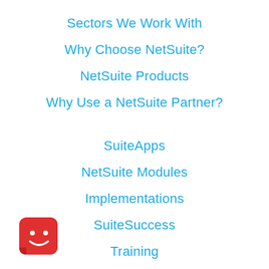Sectors We Work With
Why Choose NetSuite?
NetSuite Products
Why Use a NetSuite Partner?
SuiteApps
NetSuite Modules
Implementations
SuiteSuccess
Training
Knowledge Base
[Figure (logo): Red rounded square logo with a white smiley face icon]